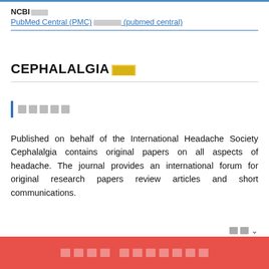NCBI   PubMed Central (PMC)       (pubmed central)
CEPHALALGIA
[placeholder text]
Published on behalf of the International Headache Society Cephalalgia contains original papers on all aspects of headache. The journal provides an international forum for original research papers review articles and short communications.
[placeholder button bar]